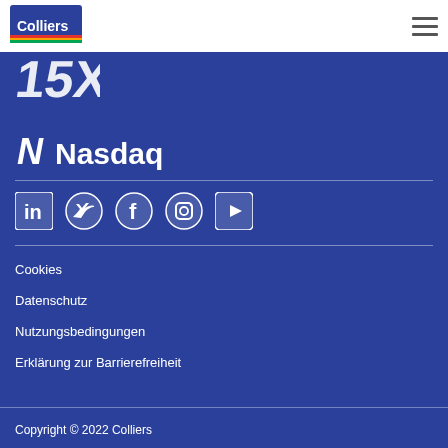[Figure (logo): Colliers logo in top left header area]
[Figure (logo): TSX partial logo at top of blue section]
[Figure (logo): Nasdaq logo with N symbol and text]
[Figure (infographic): Social media icons: LinkedIn, Twitter, Facebook, Instagram, YouTube]
Cookies
Datenschutz
Nutzungsbedingungen
Erklärung zur Barrierefreiheit
Copyright © 2022 Colliers